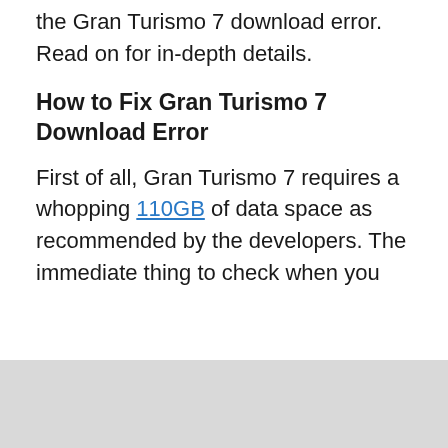the Gran Turismo 7 download error. Read on for in-depth details.
How to Fix Gran Turismo 7 Download Error
First of all, Gran Turismo 7 requires a whopping 110GB of data space as recommended by the developers. The immediate thing to check when you